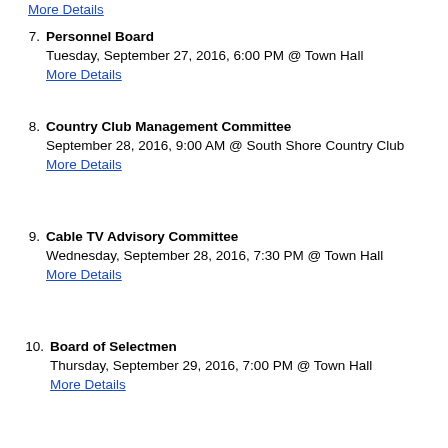More Details (top partial item)
7. Personnel Board
Tuesday, September 27, 2016, 6:00 PM @ Town Hall
More Details
8. Country Club Management Committee
September 28, 2016, 9:00 AM @ South Shore Country Club
More Details
9. Cable TV Advisory Committee
Wednesday, September 28, 2016, 7:30 PM @ Town Hall
More Details
10. Board of Selectmen
Thursday, September 29, 2016, 7:00 PM @ Town Hall
More Details
11. Recreation Commssion
Thursday, September 29, 2016, 7:00 PM @ Town Hall
More Details
12. Recreation Commssion
Friday, September 30, 2016, 9:00 AM @ The Harbor
More Details